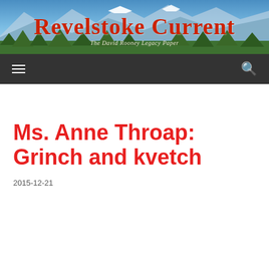[Figure (photo): Revelstoke Current newspaper website header banner with mountain landscape background showing snow-capped peaks, blue sky, and green trees. Large red serif text reads 'Revelstoke Current' with italic subtitle 'The David Rooney Legacy Paper'.]
Revelstoke Current — The David Rooney Legacy Paper
Ms. Anne Throap: Grinch and kvetch
2015-12-21